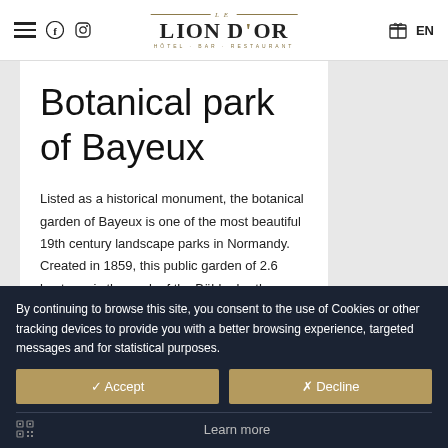Le Lion d'Or — Hôtel · Bar · Restaurant | EN
Botanical park of Bayeux
Listed as a historical monument, the botanical garden of Bayeux is one of the most beautiful 19th century landscape parks in Normandy. Created in 1859, this public garden of 2.6 hectares is the work of the Bühler brothers, creators of the
By continuing to browse this site, you consent to the use of Cookies or other tracking devices to provide you with a better browsing experience, targeted messages and for statistical purposes.
✓ Accept
✗ Decline
Learn more